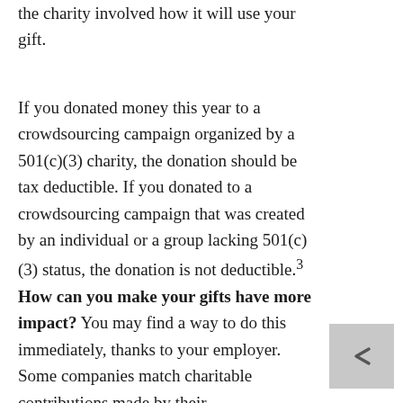the charity involved how it will use your gift.
If you donated money this year to a crowdsourcing campaign organized by a 501(c)(3) charity, the donation should be tax deductible. If you donated to a crowdsourcing campaign that was created by an individual or a group lacking 501(c)(3) status, the donation is not deductible.³
How can you make your gifts have more impact? You may find a way to do this immediately, thanks to your employer. Some companies match charitable contributions made by their